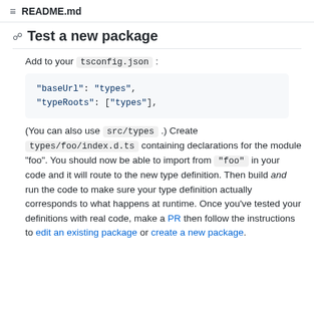README.md
Test a new package
Add to your tsconfig.json:
"baseUrl": "types",
"typeRoots": ["types"],
(You can also use src/types .) Create types/foo/index.d.ts containing declarations for the module "foo". You should now be able to import from "foo" in your code and it will route to the new type definition. Then build and run the code to make sure your type definition actually corresponds to what happens at runtime. Once you've tested your definitions with real code, make a PR then follow the instructions to edit an existing package or create a new package.